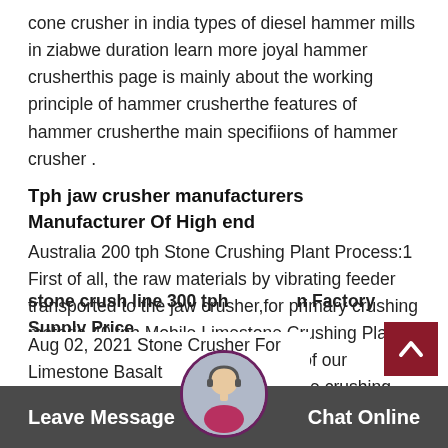cone crusher in india types of diesel hammer mills in ziabwe duration learn more joyal hammer crusherthis page is mainly about the working principle of hammer crusherthe features of hammer crusherthe main specifiions of hammer crusher .
Tph jaw crusher manufacturers Manufacturer Of High end
Australia 200 tph Stone Crushing Plant Process:1 First of all, the raw materials by vibrating feeder transported to the jaw crusher,for primary crushing materia 40 tph Mobile Limestone Crushing Plant Oute of ProjectUnder the guidance of our engineer, our 40 tph mobile limestone crushing plants run stably and well in many countries. Oline Chat
stone crush line 300 tph Factory Supply Price
Aug 02, 2021 Stone Crusher For Limestone Basalt
Leave Message   Chat Online